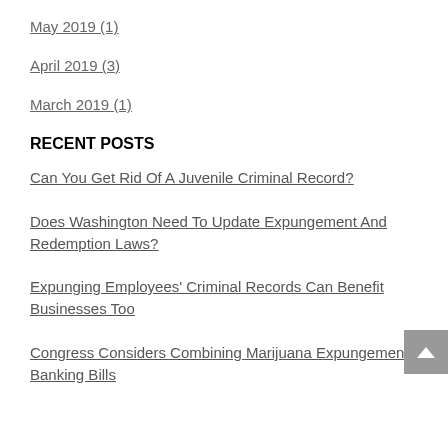May 2019 (1)
April 2019 (3)
March 2019 (1)
RECENT POSTS
Can You Get Rid Of A Juvenile Criminal Record?
Does Washington Need To Update Expungement And Redemption Laws?
Expunging Employees' Criminal Records Can Benefit Businesses Too
Congress Considers Combining Marijuana Expungement, Banking Bills